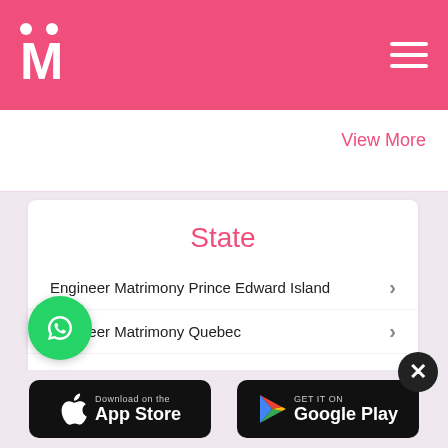[Figure (logo): Matrimony website logo with pink/red background, white M letter and two dots above, hamburger menu icon on the right]
View More
State
Engineer Matrimony Prince Edward Island
Engineer Matrimony Quebec
Engineer Matrimony Newfoundland and Labrador
Engineer Matrimony British Columbia
Engineer Matrimony Florida
[Figure (other): WhatsApp chat button (green circle with phone icon)]
[Figure (other): Download on the App Store badge (black rounded rectangle)]
[Figure (other): GET IT ON Google Play badge (black rounded rectangle)]
[Figure (other): Close button (black circle with X)]